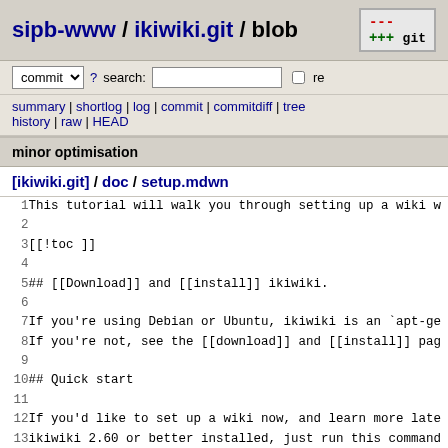sipb-www / ikiwiki.git / blob
commit  ? search:  re
summary | shortlog | log | commit | commitdiff | tree history | raw | HEAD
minor optimisation
[ikiwiki.git] / doc / setup.mdwn
1  This tutorial will walk you through setting up a wiki w
2
3  [[!toc ]]
4
5  ## [[Download]] and [[install]] ikiwiki.
6
7  If you're using Debian or Ubuntu, ikiwiki is an `apt-ge
8  If you're not, see the [[download]] and [[install]] pag
9
10  ## Quick start
11
12  If you'd like to set up a wiki now, and learn more late
13  ikiwiki 2.60 or better installed, just run this command
14  of questions.
15
16      % ikiwiki -setup /etc/ikiwiki/auto.setup
17      What will the wiki be named? mywiki
18      What revision control system to use? git
19      What wiki user (or openid) will be wiki admin?